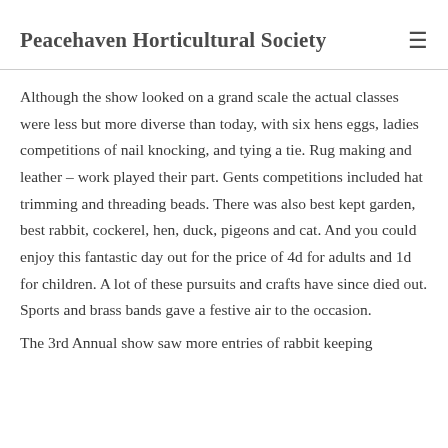Peacehaven Horticultural Society
Although the show looked on a grand scale the actual classes were less but more diverse than today, with six hens eggs, ladies competitions of nail knocking, and tying a tie. Rug making and leather – work played their part. Gents competitions included hat trimming and threading beads. There was also best kept garden, best rabbit, cockerel, hen, duck, pigeons and cat. And you could enjoy this fantastic day out for the price of 4d for adults and 1d for children. A lot of these pursuits and crafts have since died out.
Sports and brass bands gave a festive air to the occasion.
The 3rd Annual show saw more entries of rabbit keeping